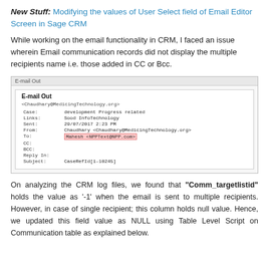New Stuff: Modifying the values of User Select field of Email Editor Screen in Sage CRM
While working on the email functionality in CRM, I faced an issue wherein Email communication records did not display the multiple recipients name i.e. those added in CC or Bcc.
[Figure (screenshot): Screenshot of E-mail Out screen in Sage CRM showing email details: Case: development Progress related, Links: Sood InfoTechnology, Sent: 29/07/2017 2:23 PM, From: Chaudhary <Chaudhary@MedicingTechnology.org>, To: Mahesh <NPPText@NPP.com> (highlighted in pink), CC: (empty), BCC: (empty), Reply In: (empty), Subject: CaseRefId[1-10245]]
On analyzing the CRM log files, we found that "Comm_targetlistid" holds the value as '-1' when the email is sent to multiple recipients. However, in case of single recipient; this column holds null value. Hence, we updated this field value as NULL using Table Level Script on Communication table as explained below.